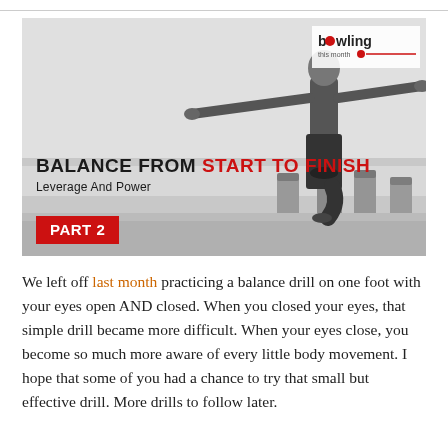[Figure (photo): Black and white photograph of a man balancing with arms outstretched on wooden posts near a beach. Overlaid text reads 'BALANCE FROM START TO FINISH – Leverage And Power – PART 2'. Bowling This Month logo in top right corner.]
We left off last month practicing a balance drill on one foot with your eyes open AND closed. When you closed your eyes, that simple drill became more difficult. When your eyes close, you become so much more aware of every little body movement. I hope that some of you had a chance to try that small but effective drill. More drills to follow later.